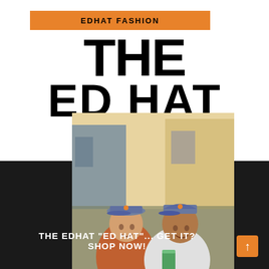EDHAT FASHION
THE ED HAT
[Figure (photo): Two people sitting outdoors both wearing matching blue/grey baseball caps with orange logo. One person wearing an orange striped shirt, the other in a white t-shirt. They are smiling and holding a green can.]
THE EDHAT "ED HAT"... GET IT?
SHOP NOW!